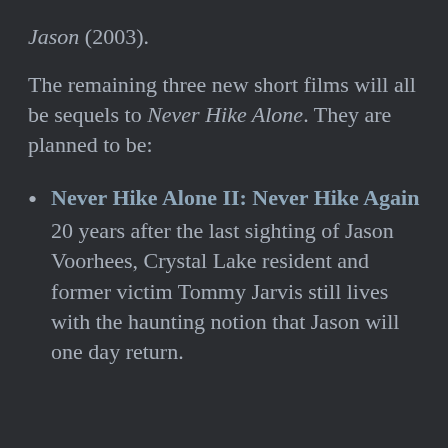Jason (2003).
The remaining three new short films will all be sequels to Never Hike Alone. They are planned to be:
Never Hike Alone II: Never Hike Again — 20 years after the last sighting of Jason Voorhees, Crystal Lake resident and former victim Tommy Jarvis still lives with the haunting notion that Jason will one day return.